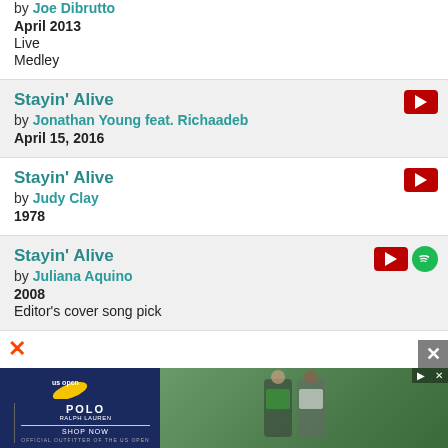by Joe Dibrutto
April 2013
Live
Medley
Stayin' Alive
by Jonathan Young feat. Richaadeb
April 15, 2016
Stayin' Alive
by Judy Clay
1978
Stayin' Alive
by Juliana Aquino
2008
Editor's cover song pick
[Figure (screenshot): Advertisement banner for US Open / POLO RALPH LAUREN with shop now call to action, dark blue background, image of tennis players on right side]